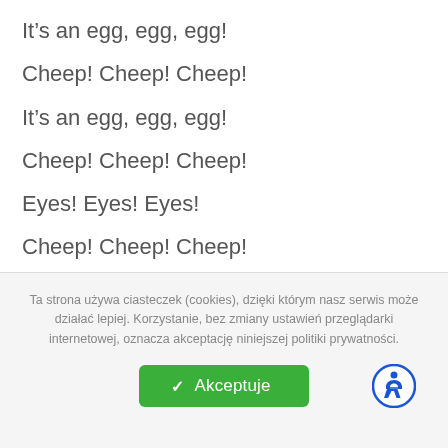It’s an egg, egg, egg!
Cheep! Cheep! Cheep!
It’s an egg, egg, egg!
Cheep! Cheep! Cheep!
Eyes! Eyes! Eyes!
Cheep! Cheep! Cheep!
Ta strona używa ciasteczek (cookies), dzięki którym nasz serwis może działać lepiej. Korzystanie, bez zmiany ustawień przeglądarki internetowej, oznacza akceptację niniejszej politiki prywatności.